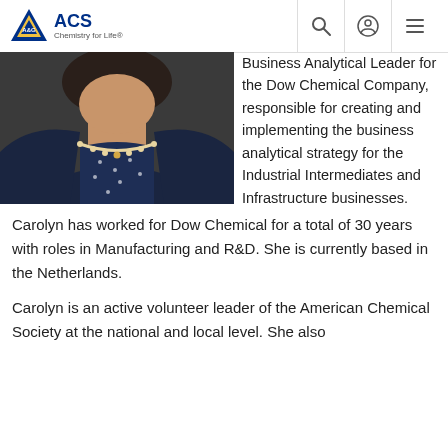ACS Chemistry for Life
[Figure (photo): Portrait photo of a woman wearing a dark blazer, dotted blouse, and pearl necklace, cropped from shoulders up to chin area, dark background.]
Business Analytical Leader for the Dow Chemical Company, responsible for creating and implementing the business analytical strategy for the Industrial Intermediates and Infrastructure businesses.  Carolyn has worked for Dow Chemical for a total of 30 years with roles in Manufacturing and R&D.  She is currently based in the Netherlands.
Carolyn is an active volunteer leader of the American Chemical Society at the national and local level.  She also